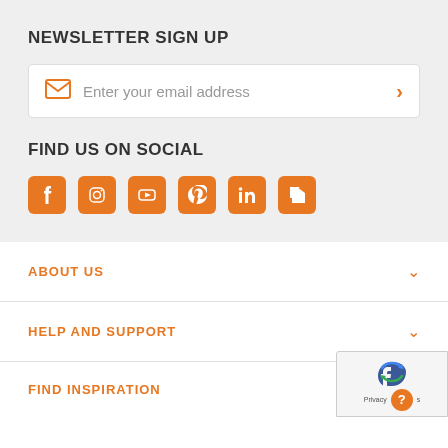NEWSLETTER SIGN UP
Enter your email address
FIND US ON SOCIAL
[Figure (infographic): Social media icons: Facebook, Instagram, YouTube, Pinterest, LinkedIn, Houzz — all in orange rounded squares]
ABOUT US
HELP AND SUPPORT
FIND INSPIRATION
[Figure (other): reCAPTCHA badge with Privacy text and orange help circle]